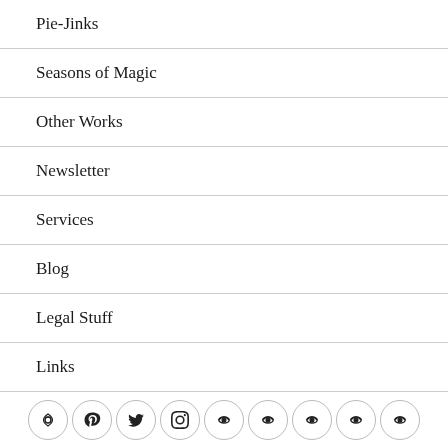Pie-Jinks
Seasons of Magic
Other Works
Newsletter
Services
Blog
Legal Stuff
Links
[Figure (other): Row of 9 circular social media icon buttons: a custom icon, Pinterest, Twitter, Instagram, and 5 more custom/unknown icons]